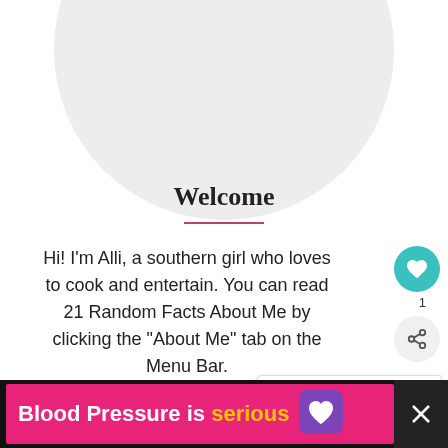[Figure (illustration): Large light gray circle (profile picture placeholder) partially visible at the top of the page]
Welcome
Hi! I'm Alli, a southern girl who loves to cook and entertain. You can read 21 Random Facts About Me by clicking the "About Me" tab on the Menu Bar.
[Figure (other): WHAT'S NEXT arrow label with thumbnail image of Salted Nut Squares and text 'Salted Nut Squares...']
[Figure (other): Ad banner: 'Blood Pressure is serious' with pink background and purple heart icon]